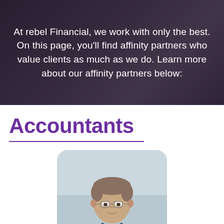At rebel Financial, we work with only the best. On this page, you'll find affinity partners who value clients as much as we do. Learn more about our affinity partners below:
Accountants
[Figure (photo): Professional headshot of a middle-aged man with short brown hair and glasses, wearing a suit, photographed against a light grey background with rounded-corner image frame.]